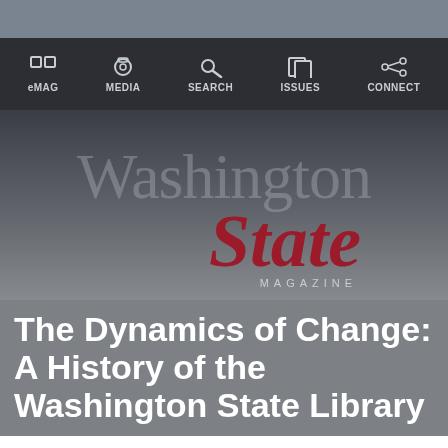Washington State Magazine
[Figure (screenshot): Navigation bar with icons for eMAG, MEDIA, SEARCH, ISSUES, CONNECT on dark background]
[Figure (logo): Washington State Magazine masthead logo with 'Washington' in gray, 'State' in red italic, and 'MAGAZINE' in small caps]
The Dynamics of Change: A History of the Washington State Library
by WSM staff